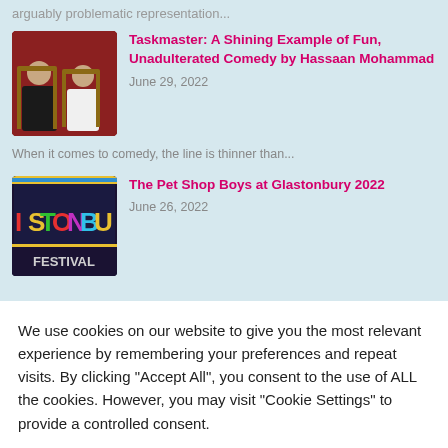arguably problematic representation...
Taskmaster: A Shining Example of Fun, Unadulterated Comedy by Hassaan Mohammad
June 29, 2022
When it comes to comedy, the line is thinner than...
The Pet Shop Boys at Glastonbury 2022
June 26, 2022
We use cookies on our website to give you the most relevant experience by remembering your preferences and repeat visits. By clicking "Accept All", you consent to the use of ALL the cookies. However, you may visit "Cookie Settings" to provide a controlled consent.